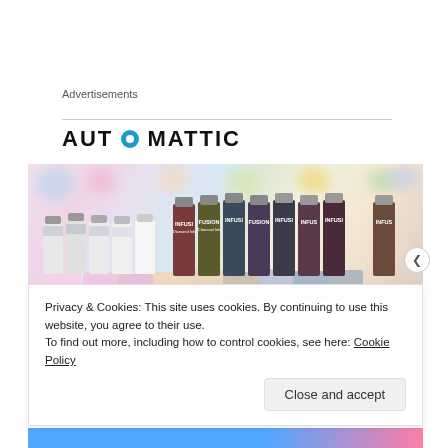Advertisements
[Figure (logo): Automattic logo in bold sans-serif uppercase text with a blue circle replacing the letter O]
[Figure (photo): A flat lay of various craft ink bottles labeled 'Infusions' with colorful ink swatches on paper, handwritten color names visible]
Privacy & Cookies: This site uses cookies. By continuing to use this website, you agree to their use.
To find out more, including how to control cookies, see here: Cookie Policy
Close and accept